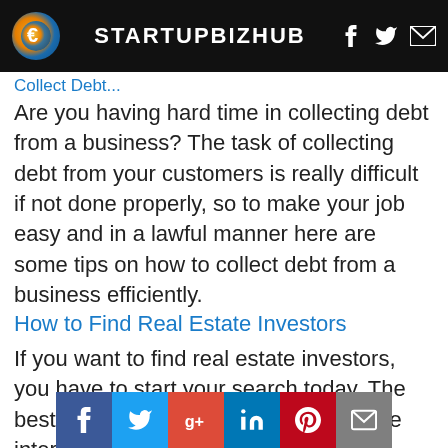STARTUPBIZHUB
Are you having hard time in collecting debt from a business? The task of collecting debt from your customers is really difficult if not done properly, so to make your job easy and in a lawful manner here are some tips on how to collect debt from a business efficiently.
How to Find Real Estate Investors
If you want to find real estate investors, you have to start your search today. The best place to conduct your search is the internet because it contains a lot of valuable information.